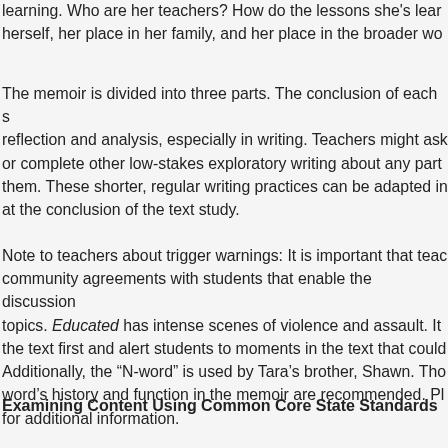learning. Who are her teachers? How do the lessons she's learning shape herself, her place in her family, and her place in the broader wo
The memoir is divided into three parts. The conclusion of each s reflection and analysis, especially in writing. Teachers might ask or complete other low-stakes exploratory writing about any part them. These shorter, regular writing practices can be adapted in at the conclusion of the text study.
Note to teachers about trigger warnings: It is important that teac community agreements with students that enable the discussion topics. Educated has intense scenes of violence and assault. It the text first and alert students to moments in the text that could Additionally, the “N-word” is used by Tara’s brother, Shawn. Tho word’s history and function in the memoir are recommended. Pl for additional information.
Examining Content Using Common Core State Standards